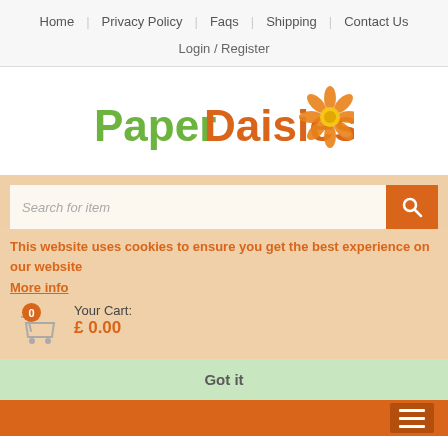Home | Privacy Policy | Faqs | Shipping | Contact Us
Login / Register
[Figure (logo): PaperDaisies logo with orange daisy flower illustration and green/orange text]
Search for item
This website uses cookies to ensure you get the best experience on our website
More info
Your Cart:
£ 0.00
Got it